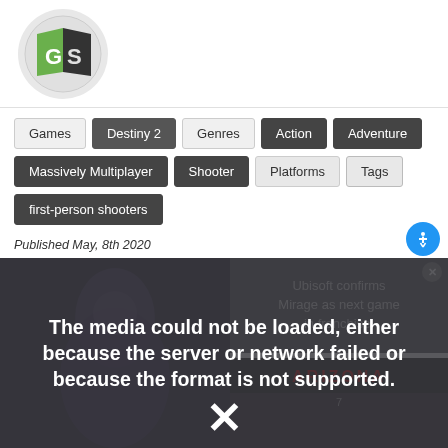[Figure (logo): GameSpot logo: green G and dark S on a circle, book-shaped icon]
Games
Destiny 2
Genres
Action
Adventure
Massively Multiplayer
Shooter
Platforms
Tags
first-person shooters
Published May, 8th 2020
[Figure (screenshot): Media player error overlay showing: 'The media could not be loaded, either because the server or network failed or because the format is not supported.' with an X mark. Behind overlay: left side shows dark fantasy game art (character), right side shows 'Ubisoft confirms Mirage as next game in franchise!' text and game thumbnail grid. Accessibility button visible.]